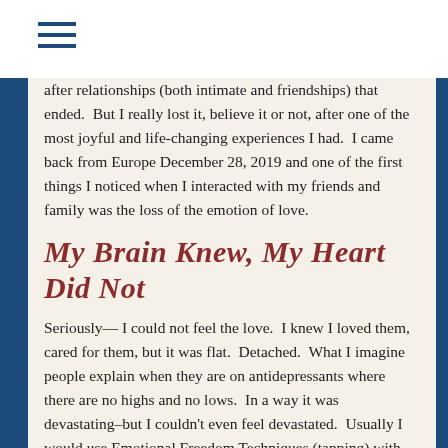[Figure (other): Hamburger menu icon (three horizontal lines) in dark blue]
after relationships (both intimate and friendships) that ended.  But I really lost it, believe it or not, after one of the most joyful and life-changing experiences I had.  I came back from Europe December 28, 2019 and one of the first things I noticed when I interacted with my friends and family was the loss of the emotion of love.
My Brain Knew, My Heart Did Not
Seriously— I could not feel the love.  I knew I loved them, cared for them, but it was flat.  Detached.  What I imagine people explain when they are on antidepressants where there are no highs and no lows.  In a way it was devastating–but I couldn't even feel devastated.  Usually I would use Emotional Freedom Techniques (tapping) with myself for something like this, but I couldn't figure it out.  I hired Gabriella from